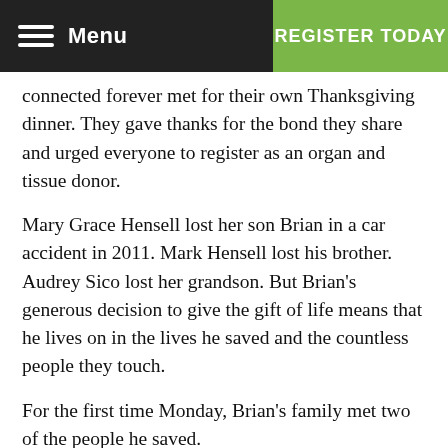Menu | REGISTER TODAY
connected forever met for their own Thanksgiving dinner. They gave thanks for the bond they share and urged everyone to register as an organ and tissue donor.
Mary Grace Hensell lost her son Brian in a car accident in 2011. Mark Hensell lost his brother. Audrey Sico lost her grandson. But Brian’s generous decision to give the gift of life means that he lives on in the lives he saved and the countless people they touch.
For the first time Monday, Brian’s family met two of the people he saved.
John Shanahan of Fox Chapel received Brian’s